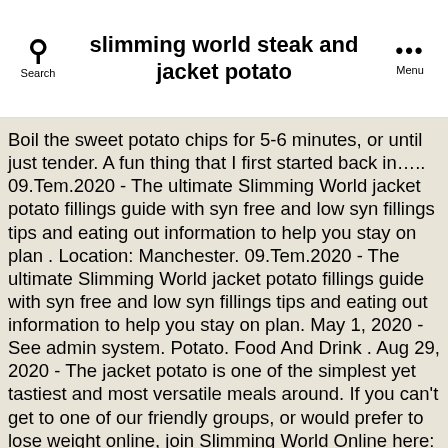slimming world steak and jacket potato
Boil the sweet potato chips for 5-6 minutes, or until just tender. A fun thing that I first started back in….. 09.Tem.2020 - The ultimate Slimming World jacket potato fillings guide with syn free and low syn fillings tips and eating out information to help you stay on plan . Location: Manchester. 09.Tem.2020 - The ultimate Slimming World jacket potato fillings guide with syn free and low syn fillings tips and eating out information to help you stay on plan. May 1, 2020 - See admin system. Potato. Food And Drink . Aug 29, 2020 - The jacket potato is one of the simplest yet tastiest and most versatile meals around. If you can't get to one of our friendly groups, or would prefer to lose weight online, join Slimming World Online here: sign up. Best Slimming World Potato Recipes. sharonhj reblogged this from slimming-world and added: This Chick Pea Salad looks great! 10 Ways with Jacket Potatoes All recipes on line – What your favourite – share it here!! Boil the sweet potato chips for 5-6 minutes, or until just tender.